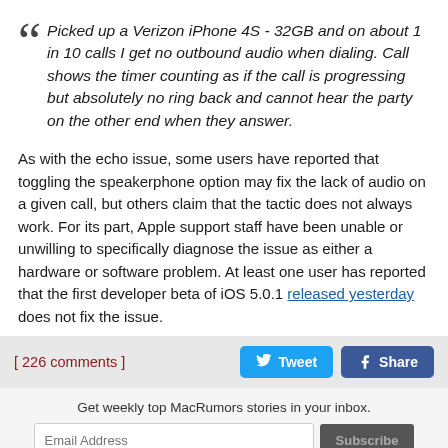Picked up a Verizon iPhone 4S - 32GB and on about 1 in 10 calls I get no outbound audio when dialing. Call shows the timer counting as if the call is progressing but absolutely no ring back and cannot hear the party on the other end when they answer.
As with the echo issue, some users have reported that toggling the speakerphone option may fix the lack of audio on a given call, but others claim that the tactic does not always work. For its part, Apple support staff have been unable or unwilling to specifically diagnose the issue as either a hardware or software problem. At least one user has reported that the first developer beta of iOS 5.0.1 released yesterday does not fix the issue.
[ 226 comments ]
Get weekly top MacRumors stories in your inbox.
Top Rated Comments